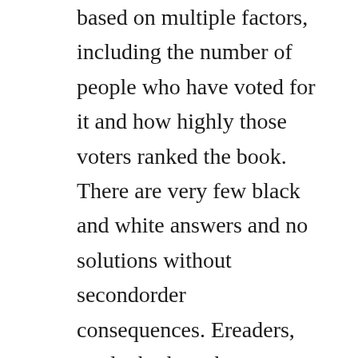based on multiple factors, including the number of people who have voted for it and how highly those voters ranked the book. There are very few black and white answers and no solutions without secondorder consequences. Ereaders, no doubt, have been a crucial factor in the continued success of e. I first read it almost twenty years ago and its still one of my favorite childrens stories about the american civil war. One of the standout novels of 2017 had been alyssa coles an extraordinary union, an interracial romance set during the civil war. Their stories, seen